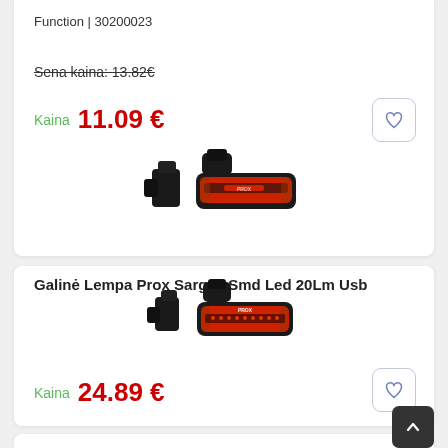Function | 30200023
Sena kaina: 13.82€
Kaina  11.09 €
[Figure (photo): Bicycle rear light product photo: Prox Sargas SMD LED 20Lm USB, showing red light unit with black mounting bracket]
Galinė Lempa Prox Sargas Smd Led 20Lm Usb
Kaina  24.89 €